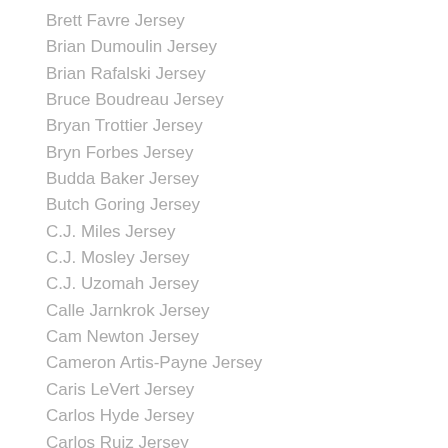Brett Favre Jersey
Brian Dumoulin Jersey
Brian Rafalski Jersey
Bruce Boudreau Jersey
Bryan Trottier Jersey
Bryn Forbes Jersey
Budda Baker Jersey
Butch Goring Jersey
C.J. Miles Jersey
C.J. Mosley Jersey
C.J. Uzomah Jersey
Calle Jarnkrok Jersey
Cam Newton Jersey
Cameron Artis-Payne Jersey
Caris LeVert Jersey
Carlos Hyde Jersey
Carlos Ruiz Jersey
Carter Verhaeghe Jersey